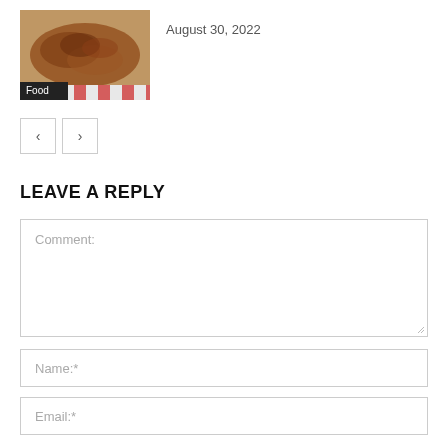[Figure (photo): Food photo showing cooked meat/pulled pork on a plate with a red and white checkered cloth. Has a 'Food' badge overlay at the bottom left.]
August 30, 2022
< >
LEAVE A REPLY
Comment:
Name:*
Email:*